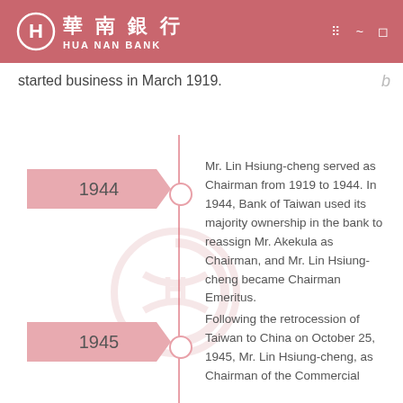華南銀行 HUA NAN BANK
started business in March 1919.
1944
Mr. Lin Hsiung-cheng served as Chairman from 1919 to 1944. In 1944, Bank of Taiwan used its majority ownership in the bank to reassign Mr. Akekula as Chairman, and Mr. Lin Hsiung-cheng became Chairman Emeritus.
1945
Following the retrocession of Taiwan to China on October 25, 1945, Mr. Lin Hsiung-cheng, as Chairman of the Commercial